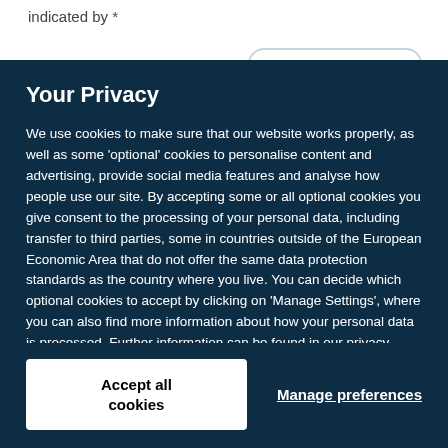indicated by *
Your Privacy
We use cookies to make sure that our website works properly, as well as some 'optional' cookies to personalise content and advertising, provide social media features and analyse how people use our site. By accepting some or all optional cookies you give consent to the processing of your personal data, including transfer to third parties, some in countries outside of the European Economic Area that do not offer the same data protection standards as the country where you live. You can decide which optional cookies to accept by clicking on 'Manage Settings', where you can also find more information about how your personal data is processed. Further information can be found in our privacy policy.
Accept all cookies
Manage preferences